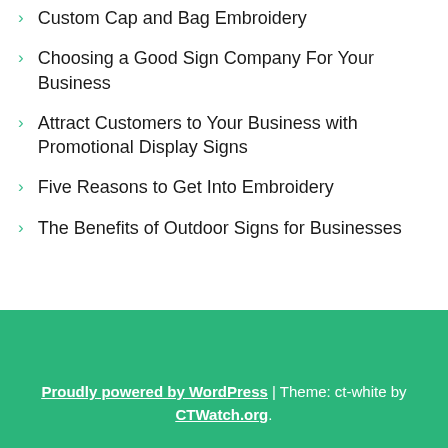Custom Cap and Bag Embroidery
Choosing a Good Sign Company For Your Business
Attract Customers to Your Business with Promotional Display Signs
Five Reasons to Get Into Embroidery
The Benefits of Outdoor Signs for Businesses
Proudly powered by WordPress | Theme: ct-white by CTWatch.org.